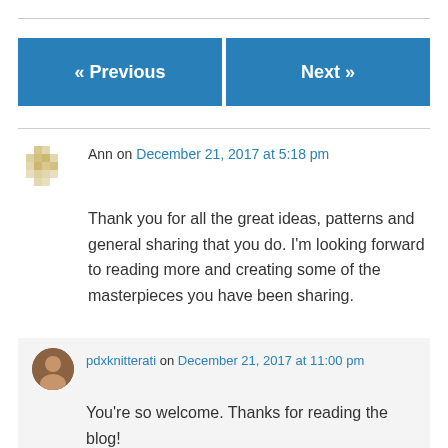« Previous
Next »
Ann on December 21, 2017 at 5:18 pm
Thank you for all the great ideas, patterns and general sharing that you do. I'm looking forward to reading more and creating some of the masterpieces you have been sharing.
pdxknitterati on December 21, 2017 at 11:00 pm
You're so welcome. Thanks for reading the blog!